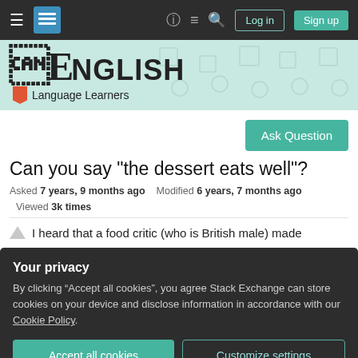English Language Learners Stack Exchange navigation bar with Log in and Sign up buttons
[Figure (logo): English Language Learners Stack Exchange site logo with stylized E and bookmark icon]
[Figure (other): Ask Question button (teal)]
Can you say "the dessert eats well"?
Asked 7 years, 9 months ago   Modified 6 years, 7 months ago   Viewed 3k times
I heard that a food critic (who is British male) made
Your privacy
By clicking "Accept all cookies", you agree Stack Exchange can store cookies on your device and disclose information in accordance with our Cookie Policy.
Accept all cookies   Customize settings
The expression amazed me as I never knew food